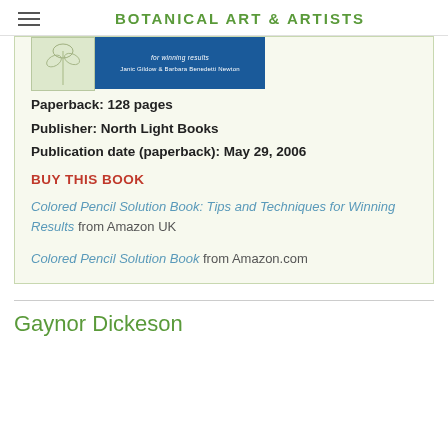BOTANICAL ART & ARTISTS
[Figure (illustration): Book cover image showing a botanical illustration on the left and blue publisher panel with text 'for winning results' and 'Janic Gildow & Barbara Benedetti Newton' on the right]
Paperback: 128 pages
Publisher: North Light Books
Publication date (paperback): May 29, 2006
BUY THIS BOOK
Colored Pencil Solution Book: Tips and Techniques for Winning Results from Amazon UK
Colored Pencil Solution Book from Amazon.com
Gaynor Dickeson